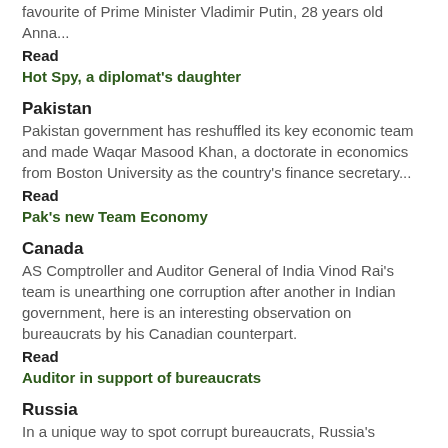favourite of Prime Minister Vladimir Putin, 28 years old Anna...
Read
Hot Spy, a diplomat's daughter
Pakistan
Pakistan government has reshuffled its key economic team and made Waqar Masood Khan, a doctorate in economics from Boston University as the country's finance secretary...
Read
Pak's new Team Economy
Canada
AS Comptroller and Auditor General of India Vinod Rai's team is unearthing one corruption after another in Indian government, here is an interesting observation on bureaucrats by his Canadian counterpart.
Read
Auditor in support of bureaucrats
Russia
In a unique way to spot corrupt bureaucrats, Russia's